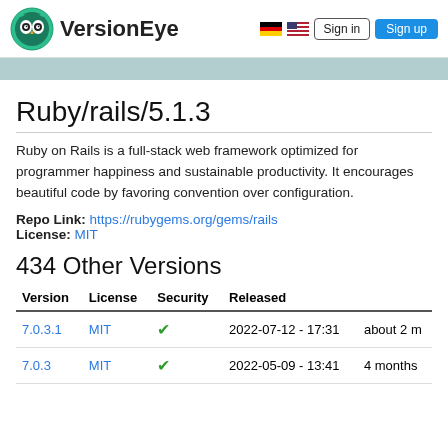VersionEye | Sign in | Sign up
Ruby/rails/5.1.3
Ruby on Rails is a full-stack web framework optimized for programmer happiness and sustainable productivity. It encourages beautiful code by favoring convention over configuration.
Repo Link: https://rubygems.org/gems/rails
License: MIT
434 Other Versions
| Version | License | Security | Released |
| --- | --- | --- | --- |
| 7.0.3.1 | MIT | ✓ | 2022-07-12 - 17:31 | about 2 m |
| 7.0.3 | MIT | ✓ | 2022-05-09 - 13:41 | 4 months |